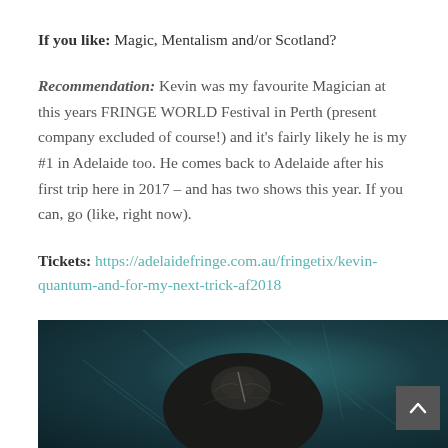If you like: Magic, Mentalism and/or Scotland?
Recommendation: Kevin was my favourite Magician at this years FRINGE WORLD Festival in Perth (present company excluded of course!) and it's fairly likely he is my #1 in Adelaide too. He comes back to Adelaide after his first trip here in 2017 – and has two shows this year. If you can, go (like, right now).
Tickets: https://adelaidefringe.com.au/fringetix/kevin-quantum-and-for-my-next-trick-af2018
[Figure (photo): Close-up photo of the back of a person's head with dark hair in a bun, against a dark teal blurred background.]